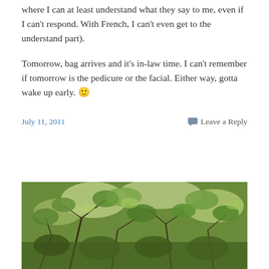where I can at least understand what they say to me, even if I can't respond. With French, I can't even get to the understand part).
Tomorrow, bag arrives and it's in-law time. I can't remember if tomorrow is the pedicure or the facial. Either way, gotta wake up early. 🙂
July 11, 2011   Leave a Reply
[Figure (photo): Outdoor photo of dense green foliage, trees and branches with green leaves, taken in natural daylight.]